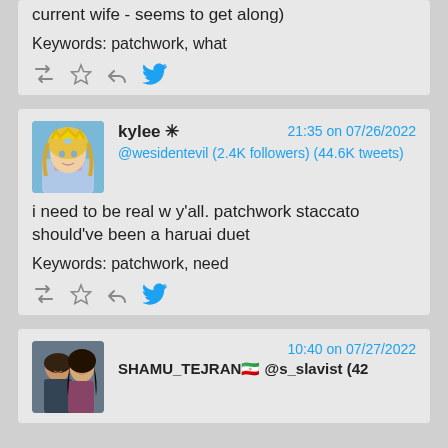current wife - seems to get along)
Keywords: patchwork, what
[Figure (other): Action bar icons: retweet, star, reply, twitter bird]
kylee ✳
21:35 on 07/26/2022
@wesidentevil (2.4K followers) (44.6K tweets)
[Figure (illustration): Avatar: anime-style blonde character with crown]
i need to be real w y'all. patchwork staccato should've been a haruai duet
Keywords: patchwork, need
[Figure (other): Action bar icons: retweet, star, reply, twitter bird]
10:40 on 07/27/2022
[Figure (photo): Avatar: photo of a man and a woman]
SHAMU_TEJRAN🇮🇷 @s_slavist (42